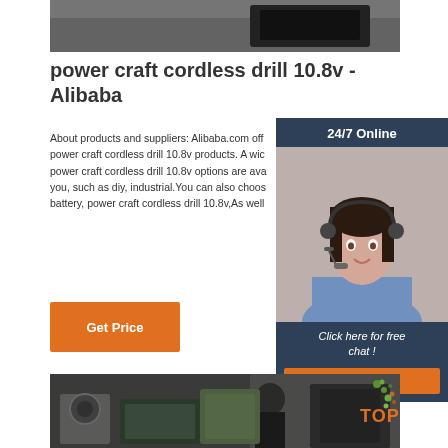[Figure (photo): Top portion of a photo showing what appears to be industrial equipment or a black case on a grey floor]
power craft cordless drill 10.8v - Alibaba
About products and suppliers: Alibaba.com off power craft cordless drill 10.8v products. A wid power craft cordless drill 10.8v options are ave you, such as diy, industrial.You can also choos battery, power craft cordless drill 10.8v,As well
[Figure (infographic): Sidebar widget with dark blue background showing 24/7 Online text, photo of woman with headset, Click here for free chat! text, and orange QUOTATION button]
[Figure (illustration): Orange Get Price button]
[Figure (photo): Bottom photo showing a man working with industrial machinery in a workshop, with a TOP logo overlay in orange/green]